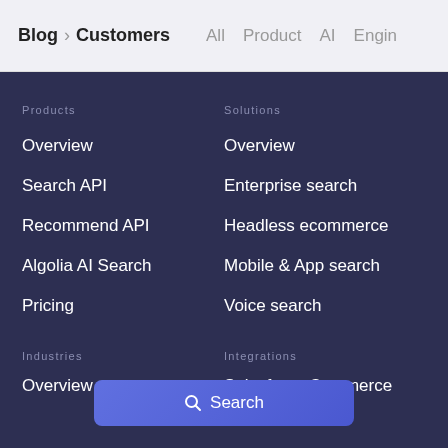Blog > Customers   All   Product   AI   Engin
Products
Overview
Search API
Recommend API
Algolia AI Search
Pricing
Solutions
Overview
Enterprise search
Headless ecommerce
Mobile & App search
Voice search
Industries
Overview
Integrations
Salesforce Commerce
Search